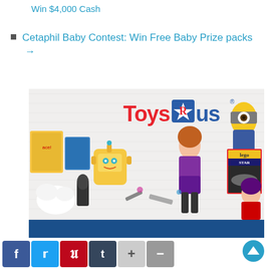Win $4,000 Cash
Cetaphil Baby Contest: Win Free Baby Prize packs →
[Figure (photo): Toys R Us promotional image showing a flat lay of various toys including a robot, dolls, LEGO Star Wars set, Minions figure, and other toys on a white surface, with the Toys R Us logo at the top and a blue banner at the bottom.]
ToysRUs. CA Contest: Win L.O.L. Surprise! Fashion Show collection
Enter new ToysRUs.ca contests below for a chance to win funds, game consoles, toys, shopping sprees and much more